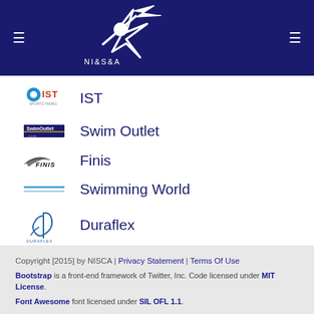NISCA navigation header with logo
IST
Swim Outlet
Finis
Swimming World
Duraflex
Copyright [2015] by NISCA | Privacy Statement | Terms Of Use
Bootstrap is a front-end framework of Twitter, Inc. Code licensed under MIT License.
Font Awesome font licensed under SIL OFL 1.1.